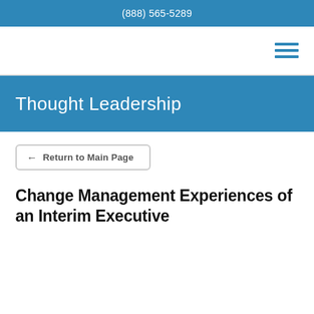(888) 565-5289
[Figure (other): Hamburger menu icon with three horizontal blue lines]
Thought Leadership
← Return to Main Page
Change Management Experiences of an Interim Executive